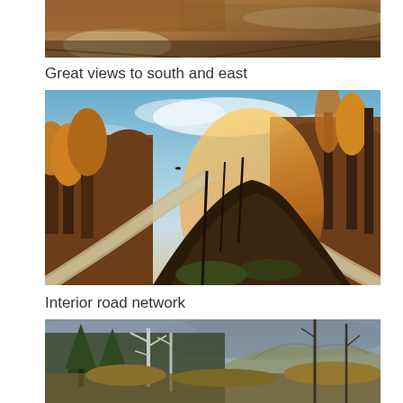[Figure (photo): Aerial or hillside view showing a dirt/gravel road with autumn-colored terrain, earth tones of brown and orange, viewed from above]
Great views to south and east
[Figure (photo): A fork in a gravel interior road flanked by bare autumn trees with golden orange light, blue sky with clouds, HDR-style landscape photograph]
Interior road network
[Figure (photo): Overcast sky with tall evergreen and bare trees in foreground, mountain visible in background, muted colors]